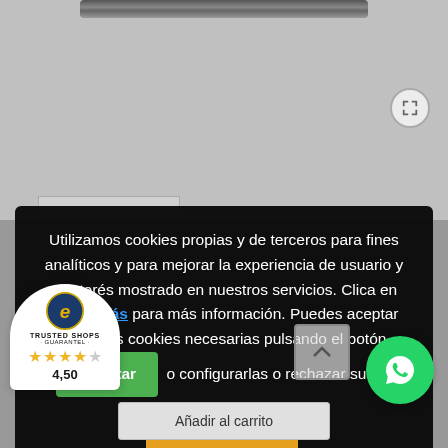[Figure (screenshot): Product image background - gray with a dark metal rail/bar at the top, expand icon circle in upper right]
Utilizamos cookies propias y de terceros para fines analíticos y para mejorar la experiencia de usuario y el interés mostrado en nuestros servicios. Clica en Saber más para más información. Puedes aceptar todas las cookies necesarias pulsando el botón Aceptar o configurarlas o rechazar su uso pulsando el botón Configuración.
[Figure (logo): Trusted Shops e-Guarantel badge with 4.5 star rating (4,50)]
[Figure (illustration): WhatsApp green circle button]
Añadir al carrito